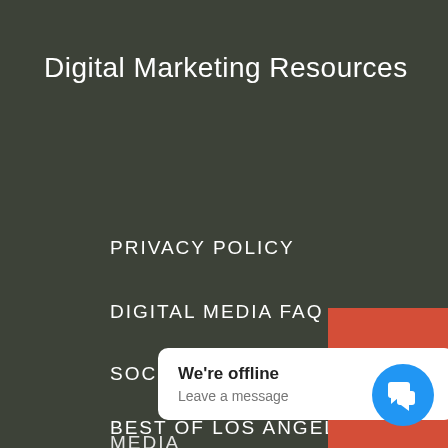Digital Marketing Resources
PRIVACY POLICY
DIGITAL MEDIA FAQ
SOCIAL MEDIA POLICY TEMPLATE
BEST OF LOS ANGELES
MEDIA
[Figure (infographic): Orange/red shopping cart button widget on the right side]
We're offline
Leave a message
[Figure (infographic): Blue circular chat button with speech bubble icon]